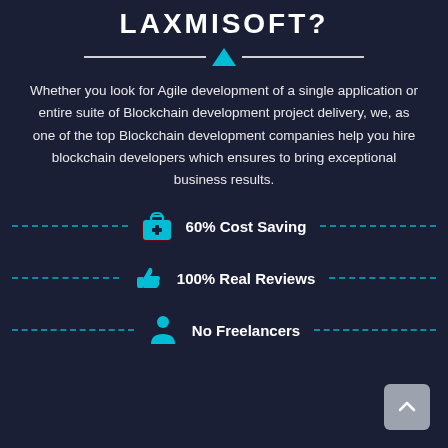LAXMISOFT?
Whether you look for Agile development of a single application or entire suite of Blockchain development project delivery, we, as one of the top Blockchain development companies help you hire blockchain developers which ensures to bring exceptional business results.
60% Cost Saving
100% Real Reviews
No Freelancers